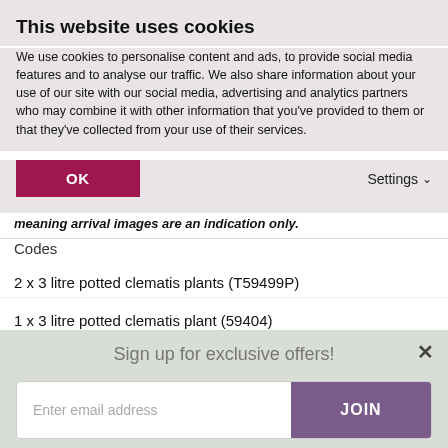This website uses cookies
We use cookies to personalise content and ads, to provide social media features and to analyse our traffic. We also share information about your use of our site with our social media, advertising and analytics partners who may combine it with other information that you've provided to them or that they've collected from your use of their services.
OK
Settings
meaning arrival images are an indication only.
Codes
2 x 3 litre potted clematis plants (T59499P)
1 x 3 litre potted clematis plant (59404)
HOW TO GROW
Sign up for exclusive offers!
Enter email address
JOIN